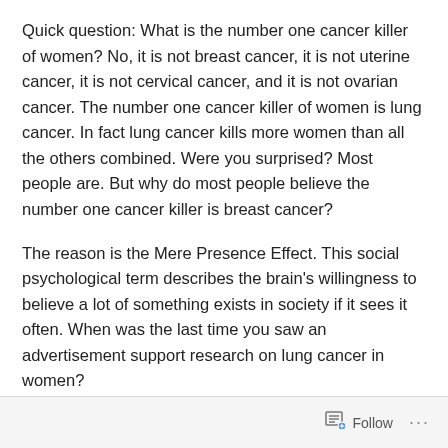Quick question: What is the number one cancer killer of women? No, it is not breast cancer, it is not uterine cancer, it is not cervical cancer, and it is not ovarian cancer. The number one cancer killer of women is lung cancer. In fact lung cancer kills more women than all the others combined. Were you surprised? Most people are. But why do most people believe the number one cancer killer is breast cancer?
The reason is the Mere Presence Effect. This social psychological term describes the brain's willingness to believe a lot of something exists in society if it sees it often. When was the last time you saw an advertisement support research on lung cancer in women?
Follow ···